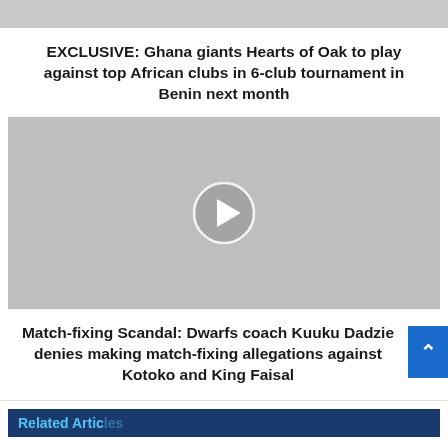[Figure (photo): Gray placeholder image strip at top of page]
EXCLUSIVE: Ghana giants Hearts of Oak to play against top African clubs in 6-club tournament in Benin next month
[Figure (other): Gray video player placeholder with a circular play button (chevron right arrow) in the center]
Match-fixing Scandal: Dwarfs coach Kuuku Dadzie denies making match-fixing allegations against Kotoko and King Faisal
[Figure (other): Dark blue banner strip at bottom partially visible, with cyan text beginning 'Related Articles']